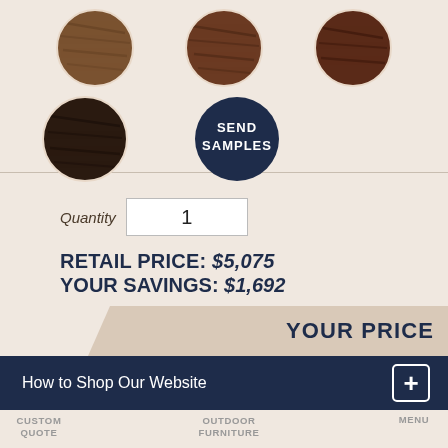[Figure (illustration): Color swatches: row 1 has three wood-grain circular swatches (medium brown, medium-dark brown, dark reddish brown); row 2 has one dark espresso swatch and one navy blue circle with text SEND SAMPLES]
SEND SAMPLES
Quantity  1
RETAIL PRICE: $5,075
YOUR SAVINGS: $1,692
YOUR PRICE
How to Shop Our Website  +
CUSTOM QUOTE  0
OUTDOOR FURNITURE  0
MENU